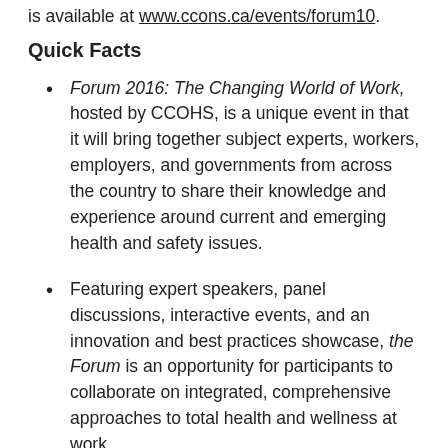is available at www.ccons.ca/events/forum10.
Quick Facts
Forum 2016: The Changing World of Work, hosted by CCOHS, is a unique event in that it will bring together subject experts, workers, employers, and governments from across the country to share their knowledge and experience around current and emerging health and safety issues.
Featuring expert speakers, panel discussions, interactive events, and an innovation and best practices showcase, the Forum is an opportunity for participants to collaborate on integrated, comprehensive approaches to total health and wellness at work.
Forum 2016: The Changing World of Work will take place on February 29 and March 1, 2016, in Vancouver, British Columbia.
Participants registering on or before November 30,